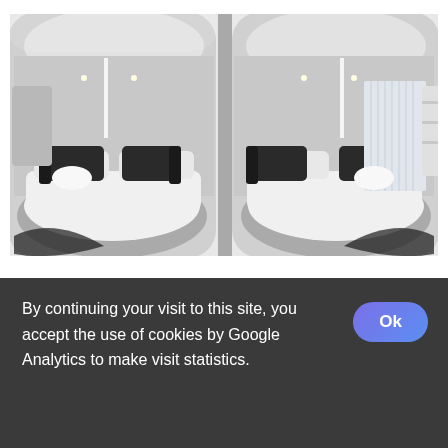[Figure (photo): 360-degree panoramic view of a modern living room with white sofas, dark armchairs, recessed ceiling lights, vertical blinds on a window, and a dark TV unit. The image has a characteristic equirectangular/fisheye dual-lens projection with two mirrored barrel-distorted halves.]
A living room filled with furniture and a flat screen tv
By continuing your visit to this site, you accept the use of cookies by Google Analytics to make visit statistics.